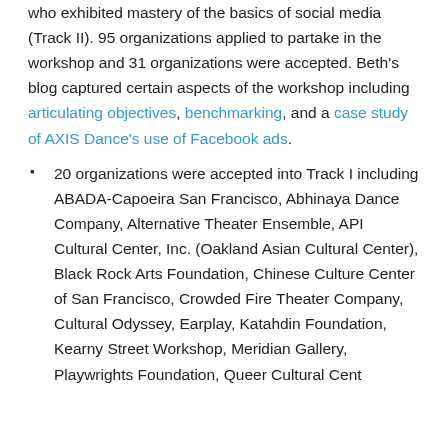who exhibited mastery of the basics of social media (Track II). 95 organizations applied to partake in the workshop and 31 organizations were accepted. Beth's blog captured certain aspects of the workshop including articulating objectives, benchmarking, and a case study of AXIS Dance's use of Facebook ads.
20 organizations were accepted into Track I including ABADA-Capoeira San Francisco, Abhinaya Dance Company, Alternative Theater Ensemble, API Cultural Center, Inc. (Oakland Asian Cultural Center), Black Rock Arts Foundation, Chinese Culture Center of San Francisco, Crowded Fire Theater Company, Cultural Odyssey, Earplay, Katahdin Foundation, Kearny Street Workshop, Meridian Gallery, Playwrights Foundation, Queer Cultural Center...